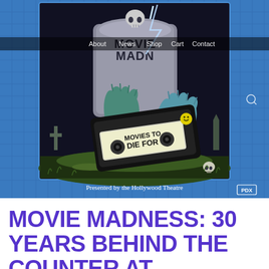[Figure (illustration): Movie Madness promotional poster showing a zombie hand rising from a grave holding a VHS tape labeled 'Movies to Die For', with a tombstone reading 'Movie Madness' behind it, surrounded by a cemetery scene with lightning. Text at bottom reads 'Presented by the Hollywood Theatre' with a PDX logo. A website navigation bar overlays the top portion with links: About, News, Shop, Cart, Contact.]
MOVIE MADNESS: 30 YEARS BEHIND THE COUNTER AT